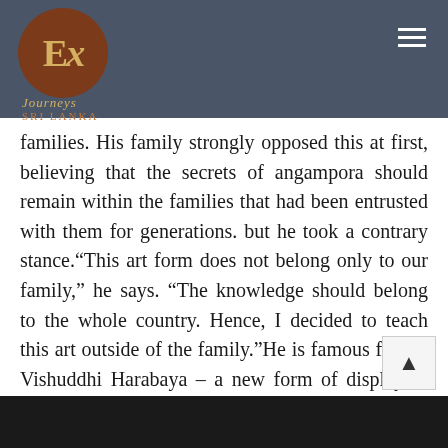EX Journeys Sri Lanka [logo and navigation header]
families. His family strongly opposed this at first, believing that the secrets of angampora should remain within the families that had been entrusted with them for generations. but he took a contrary stance.“This art form does not belong only to our family,” he says. “The knowledge should belong to the whole country. Hence, I decided to teach this art outside of the family.”He is famous for his Vishuddhi Harabaya – a new form of display to showcase the might of this ancient art.